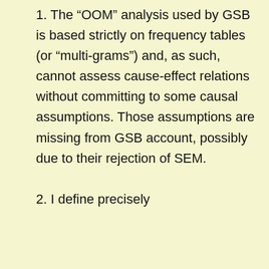1. The “OOM” analysis used by GSB is based strictly on frequency tables (or “multi-grams”) and, as such, cannot assess cause-effect relations without committing to some causal assumptions. Those assumptions are missing from GSB account, possibly due to their rejection of SEM.
2. I define precisely